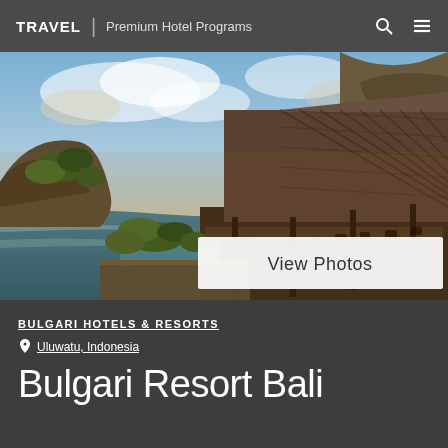TRAVEL | Premium Hotel Programs
[Figure (photo): Aerial view of Bulgari Resort Bali perched on a clifftop overlooking the Indian Ocean, with a large thatched-roof pavilion, infinity pool, and lush tropical greenery at sunset]
View Photos
BULGARI HOTELS & RESORTS
Uluwatu, Indonesia
Bulgari Resort Bali